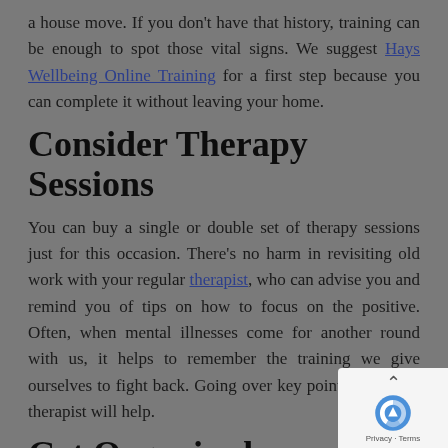a house move. If you don't have that history, training can be enough to spot those vital signs. We suggest Hays Wellbeing Online Training for a first step because you can complete it without leaving your home.
Consider Therapy Sessions
You can buy a single or double set of therapy sessions just for this occasion. There's no harm in revisiting old work with your regular therapist, who can advise you and remind you of tips on how to focus on the positive. Often, when mental illnesses come for another round with us, it helps to remember the training we give ourselves to fight back. Going over key points with your therapist will help.
Get Organised